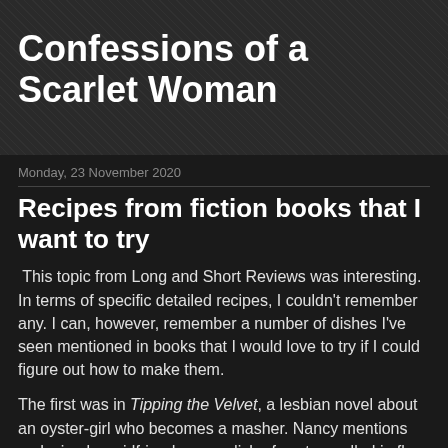Confessions of a Scarlet Woman
Monday, 23 November 2020
Recipes from fiction books that I want to try
This topic from Long and Short Reviews was interesting. In terms of specific detailed recipes, I couldn't remember any. I can, however, remember a number of dishes I've seen mentioned in books that I would love to try if I could figure out how to make them.
The first was in Tipping the Velvet, a lesbian novel about an oyster-girl who becomes a masher. Nancy mentions seducing her girlfriend over a dish of oysters rolled in flour and stewed in cream. I have never been a lover of raw